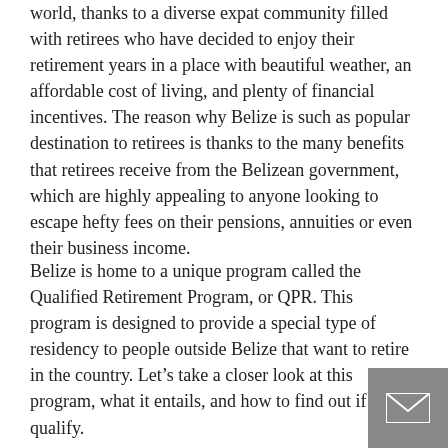world, thanks to a diverse expat community filled with retirees who have decided to enjoy their retirement years in a place with beautiful weather, an affordable cost of living, and plenty of financial incentives. The reason why Belize is such as popular destination to retirees is thanks to the many benefits that retirees receive from the Belizean government, which are highly appealing to anyone looking to escape hefty fees on their pensions, annuities or even their business income.
Belize is home to a unique program called the Qualified Retirement Program, or QPR. This program is designed to provide a special type of residency to people outside Belize that want to retire in the country. Let’s take a closer look at this program, what it entails, and how to find out if you qualify.